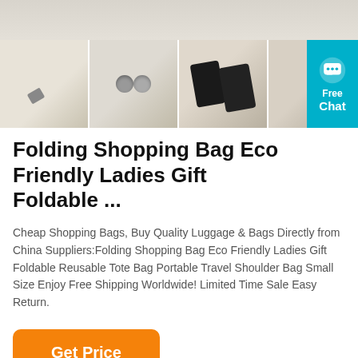[Figure (photo): Top light grey/beige banner image area (partial bag photo, cropped at top)]
[Figure (photo): Four thumbnail product detail photos of a folding shopping bag: metal clip detail, metal snap button, phone in side pocket, woven strap texture. A teal 'Free Chat' badge is overlaid on the right side.]
Folding Shopping Bag Eco Friendly Ladies Gift Foldable ...
Cheap Shopping Bags, Buy Quality Luggage & Bags Directly from China Suppliers:Folding Shopping Bag Eco Friendly Ladies Gift Foldable Reusable Tote Bag Portable Travel Shoulder Bag Small Size Enjoy Free Shipping Worldwide! Limited Time Sale Easy Return.
Get Price